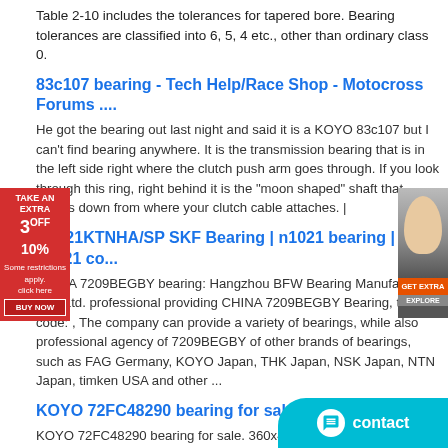Table 2-10 includes the tolerances for tapered bore. Bearing tolerances are classified into 6, 5, 4 etc., other than ordinary class 0.
83c107 bearing - Tech Help/Race Shop - Motocross Forums ....
He got the bearing out last night and said it is a KOYO 83c107 but I can't find bearing anywhere. It is the transmission bearing that is in the left side right where the clutch push arm goes through. If you look through this ring, right behind it is the "moon shaped" shaft that comes down from where your clutch cable attaches. |
N1021KTNHA/SP SKF Bearing | n1021 bearing | nsk n1021 co...
CHINA 7209BEGBY bearing: Hangzhou BFW Bearing Manufacturing Co., Ltd. professional providing CHINA 7209BEGBY Bearing, the old code: , The company can provide a variety of bearings, while also professional agency of 7209BEGBY of other brands of bearings, such as FAG Germany, KOYO Japan, THK Japan, NSK Japan, NTN Japan, timken USA and other ...
KOYO 72FC48290 bearing for sale 360x480x2...
KOYO 72FC48290 bearing for sale. 360x480x290. KOYO 72FC48290 FOUR ROW cylindrical roller bearings. Koyo is a well-known manufacturer of Cylindrical Roller Bearings.Cylindrical roller bearings are applications.Examples include mining, petroleum production, power generation, power transmission, cement processing, aggregate crushing, and